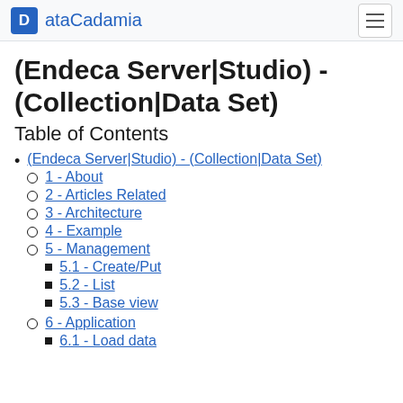ataCadamia
(Endeca Server|Studio) - (Collection|Data Set)
Table of Contents
(Endeca Server|Studio) - (Collection|Data Set)
1 - About
2 - Articles Related
3 - Architecture
4 - Example
5 - Management
5.1 - Create/Put
5.2 - List
5.3 - Base view
6 - Application
6.1 - Load data